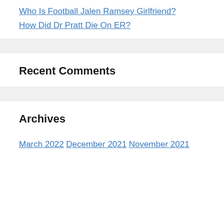Who Is Football Jalen Ramsey Girlfriend?
How Did Dr Pratt Die On ER?
Recent Comments
Archives
March 2022
December 2021
November 2021